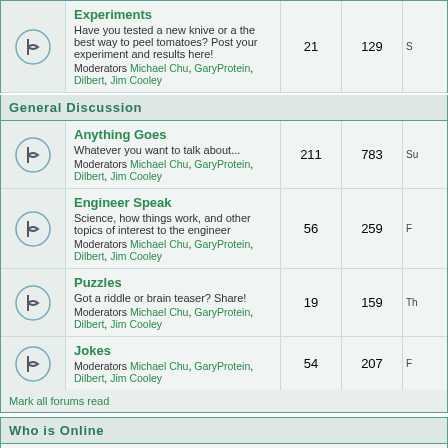| Forum | Topics | Posts | Last Post |
| --- | --- | --- | --- |
| Experiments | 21 | 129 | S... |
| Anything Goes | 211 | 783 | Su... |
| Engineer Speak | 56 | 259 | F... |
| Puzzles | 19 | 159 | Th... |
| Jokes | 54 | 207 | F... |
Mark all forums read
Who is Online
Our users have posted a total of 23254 articles
We have 60017 registered users
The newest registered user is Sammuel

In total there are 30 users online :: 0 Registered, 0 Hidden and 30 Guests [ Admin...
Most users ever online was 455 on Wed, Jul 08, 2020 6:48 am